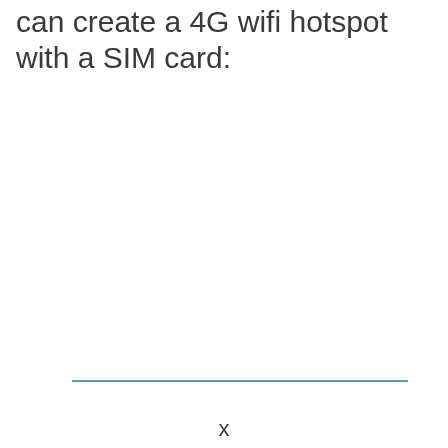can create a 4G wifi hotspot with a SIM card:
[Figure (other): A horizontal teal/blue divider line]
x